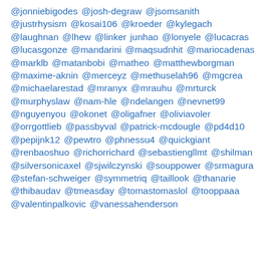@jonniebigodes @josh-degraw @jsomsanith @justrhysism @kosai106 @kroeder @kylegach @laughnan @lhew @linker junhao @lonyele @lucacras @lucasgonze @mandarini @maqsudnhit @mariocadenas @marklb @matanbobi @matheo @matthewborgman @maxime-aknin @merceyz @methuselah96 @mgcrea @michaelarestad @mranyx @mrauhu @mrturck @murphyslaw @nam-hle @ndelangen @nevnet99 @nguyenyou @okonet @oligafner @oliviavoler @orrgottlieb @passbyval @patrick-mcdougle @pd4d10 @pepijnk12 @pewtro @phnessu4 @quickgiant @renbaoshuo @richorrichard @sebastiengllmt @shilman @silversonicaxel @sjwilczynski @souppower @srmagura @stefan-schweiger @symmetriq @taillook @thanarie @thibaudav @tmeasday @tomastomaslol @tooppaaa @valentinpalkovic @vanessahenderson